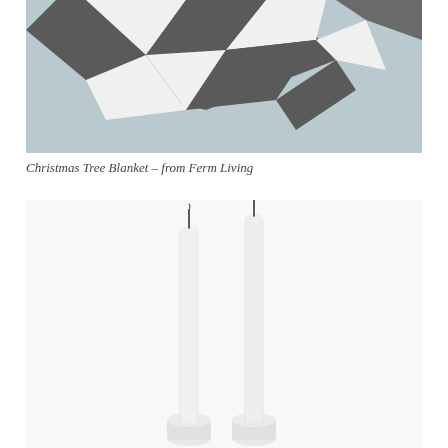[Figure (photo): Top portion of a Christmas Tree Blanket with geometric pinwheel/star pattern in dark charcoal grey and white triangles, photographed against a muted blue-grey background.]
Christmas Tree Blanket – from Ferm Living
[Figure (photo): Two tall, slim white taper candles in round white candle holders, photographed against a white/light background. The candles have small black wicks at the top.]